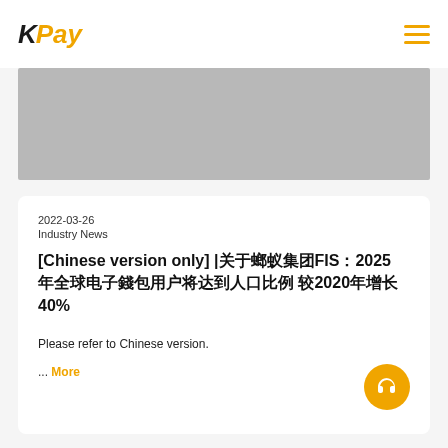KPay
[Figure (photo): Grey placeholder image banner]
2022-03-26
Industry News
[Chinese version only] |關於螞蟻集團FIS：2025年全球電子錢包用戶將達到人口比例 較2020年增長40%
Please refer to Chinese version.
... More